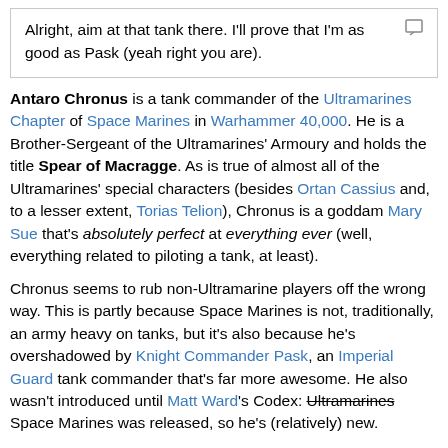Alright, aim at that tank there. I'll prove that I'm as good as Pask (yeah right you are).
Antaro Chronus is a tank commander of the Ultramarines Chapter of Space Marines in Warhammer 40,000. He is a Brother-Sergeant of the Ultramarines' Armoury and holds the title Spear of Macragge. As is true of almost all of the Ultramarines' special characters (besides Ortan Cassius and, to a lesser extent, Torias Telion), Chronus is a goddam Mary Sue that's absolutely perfect at everything ever (well, everything related to piloting a tank, at least).
Chronus seems to rub non-Ultramarine players off the wrong way. This is partly because Space Marines is not, traditionally, an army heavy on tanks, but it's also because he's overshadowed by Knight Commander Pask, an Imperial Guard tank commander that's far more awesome. He also wasn't introduced until Matt Ward's Codex: Ultramarines Space Marines was released, so he's (relatively) new.